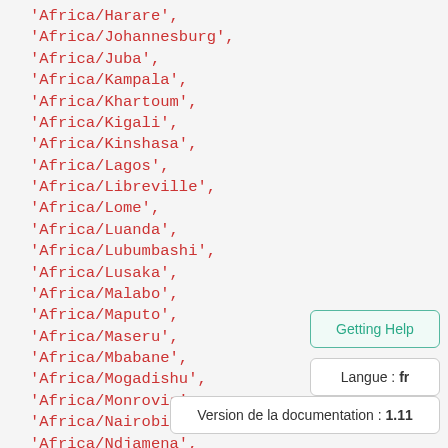'Africa/Harare',
'Africa/Johannesburg',
'Africa/Juba',
'Africa/Kampala',
'Africa/Khartoum',
'Africa/Kigali',
'Africa/Kinshasa',
'Africa/Lagos',
'Africa/Libreville',
'Africa/Lome',
'Africa/Luanda',
'Africa/Lubumbashi',
'Africa/Lusaka',
'Africa/Malabo',
'Africa/Maputo',
'Africa/Maseru',
'Africa/Mbabane',
'Africa/Mogadishu',
'Africa/Monrovia',
'Africa/Nairobi',
'Africa/Ndjamena',
'Africa/Niamey'
Getting Help
Langue : fr
Version de la documentation : 1.11